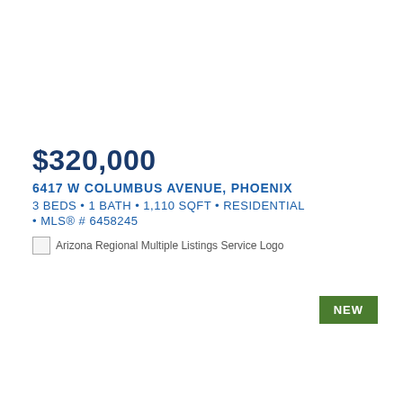$320,000
6417 W COLUMBUS AVENUE, PHOENIX
3 BEDS • 1 BATH • 1,110 SQFT • RESIDENTIAL
• MLS® # 6458245
[Figure (logo): Arizona Regional Multiple Listings Service Logo]
NEW